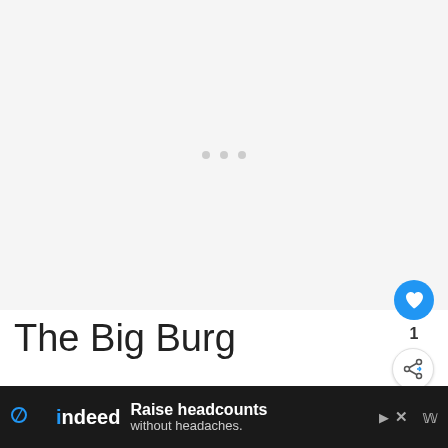[Figure (photo): Loading image placeholder area with three gray dots in the center, light gray background]
The Big Burg
Google defines burg as an old-fashioned town with walls. NYC doesn't have walls, per s...
[Figure (other): WHAT'S NEXT widget showing a thumbnail image and text '30+ Slang Words for...']
[Figure (other): Bottom advertisement bar: indeed - Raise headcounts without headaches.]